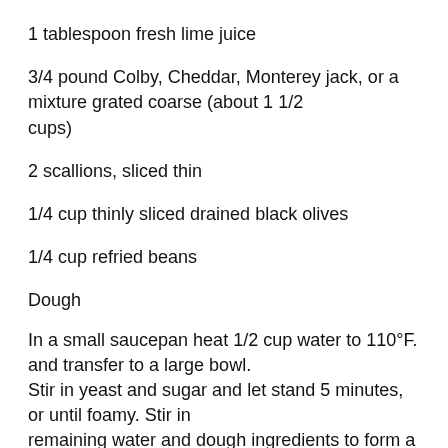1 tablespoon fresh lime juice
3/4 pound Colby, Cheddar, Monterey jack, or a mixture grated coarse (about 1 1/2 cups)
2 scallions, sliced thin
1/4 cup thinly sliced drained black olives
1/4 cup refried beans
Dough
In a small saucepan heat 1/2 cup water to 110°F. and transfer to a large bowl.
Stir in yeast and sugar and let stand 5 minutes, or until foamy. Stir in
remaining water and dough ingredients to form a dough and on a lightly floured